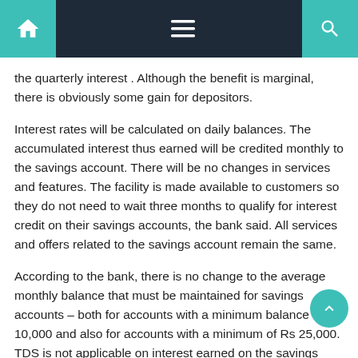Navigation bar with home, menu, and search icons
the quarterly interest . Although the benefit is marginal, there is obviously some gain for depositors.
Interest rates will be calculated on daily balances. The accumulated interest thus earned will be credited monthly to the savings account. There will be no changes in services and features. The facility is made available to customers so they do not need to wait three months to qualify for interest credit on their savings accounts, the bank said. All services and offers related to the savings account remain the same.
According to the bank, there is no change to the average monthly balance that must be maintained for savings accounts – both for accounts with a minimum balance of Rs 10,000 and also for accounts with a minimum of Rs 25,000. TDS is not applicable on interest earned on the savings account.